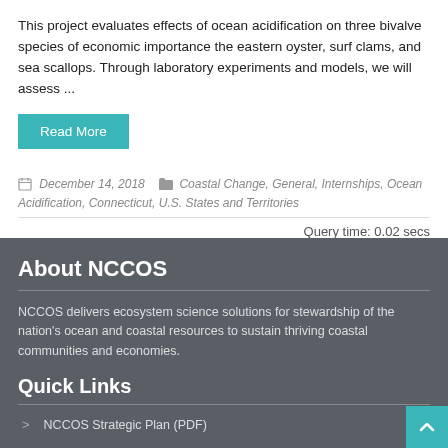This project evaluates effects of ocean acidification on three bivalve species of economic importance the eastern oyster, surf clams, and sea scallops. Through laboratory experiments and models, we will assess ...
Read More
December 14, 2018  Coastal Change, General, Internships, Ocean Acidification, Connecticut, U.S. States and Territories
Query time: 0.02 secs
About NCCOS
NCCOS delivers ecosystem science solutions for stewardship of the nation's ocean and coastal resources to sustain thriving coastal communities and economies.
Quick Links
NCCOS Strategic Plan (PDF)